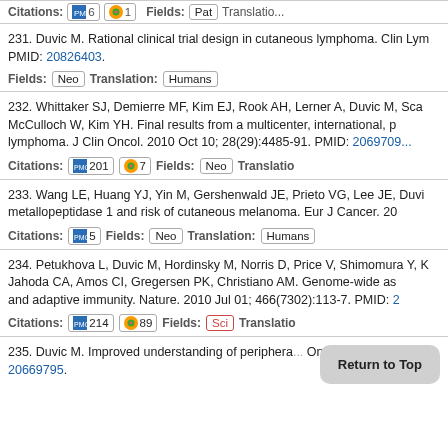231. Duvic M. Rational clinical trial design in cutaneous lymphoma. Clin Lym... PMID: 20826403. Fields: Neo Translation: Humans
232. Whittaker SJ, Demierre MF, Kim EJ, Rook AH, Lerner A, Duvic M, Sca... McCulloch W, Kim YH. Final results from a multicenter, international, p... lymphoma. J Clin Oncol. 2010 Oct 10; 28(29):4485-91. PMID: 2069709... Citations: PMC 201 Altmetric 7 Fields: Neo Translation:
233. Wang LE, Huang YJ, Yin M, Gershenwald JE, Prieto VG, Lee JE, Duvi... metallopeptidase 1 and risk of cutaneous melanoma. Eur J Cancer. 20... Citations: PMC 5 Fields: Neo Translation: Humans
234. Petukhova L, Duvic M, Hordinsky M, Norris D, Price V, Shimomura Y, K... Jahoda CA, Amos CI, Gregersen PK, Christiano AM. Genome-wide as... and adaptive immunity. Nature. 2010 Jul 01; 466(7302):113-7. PMID: 2... Citations: PMC 214 Altmetric 89 Fields: Sci Translation:
235. Duvic M. Improved understanding of periphera... Onc... 20669795.